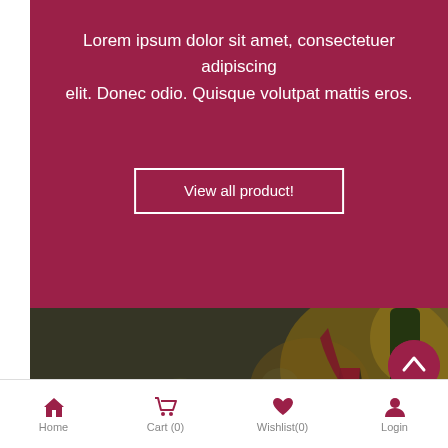Lorem ipsum dolor sit amet, consectetuer adipiscing elit. Donec odio. Quisque volutpat mattis eros.
View all product!
[Figure (photo): Photo of green and red/purple grapes in the foreground, and two wine glasses being poured with red wine in the background, outdoor bokeh setting]
[Figure (other): Sale ribbon badge in burgundy/wine color]
[Figure (other): Scroll-to-top circular button in burgundy color with upward chevron]
Home   Cart (0)   Wishlist(0)   Login